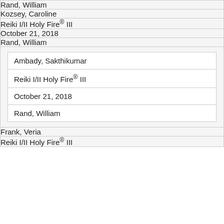| Rand, William |
| Kozsey, Caroline |
| Reiki I/II Holy Fire® III |
| October 21, 2018 |
| Rand, William |
| [nested: Ambady, Sakthikumar | Reiki I/II Holy Fire® III | October 21, 2018 | Rand, William] |
| Frank, Veria |
| Reiki I/II Holy Fire® III |